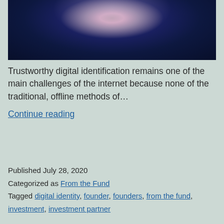[Figure (photo): Dark blue circular/lens-like image with a fingerprint or iris pattern visible in center, glowing pink/white highlight at top center, on dark navy background]
Trustworthy digital identification remains one of the main challenges of the internet because none of the traditional, offline methods of…
Continue reading
Published July 28, 2020
Categorized as From the Fund
Tagged digital identity, founder, founders, from the fund, investment, investment partner